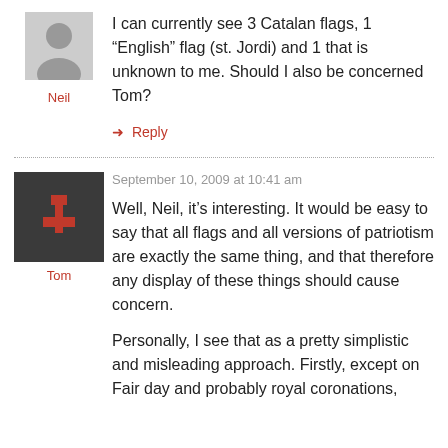[Figure (illustration): Generic grey user avatar silhouette for user Neil]
Neil
I can currently see 3 Catalan flags, 1 “English” flag (st. Jordi) and 1 that is unknown to me. Should I also be concerned Tom?
➜ Reply
[Figure (logo): Dark square avatar with red letter t cross symbol for user Tom]
Tom
September 10, 2009 at 10:41 am
Well, Neil, it’s interesting. It would be easy to say that all flags and all versions of patriotism are exactly the same thing, and that therefore any display of these things should cause concern.
Personally, I see that as a pretty simplistic and misleading approach. Firstly, except on Fair day and probably royal coronations,